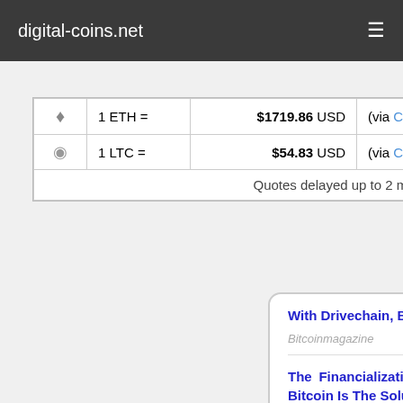digital-coins.net
|  | Crypto | Price | Source |
| --- | --- | --- | --- |
| ETH icon | 1 ETH = | $1719.86 USD | (via Coinbase) |
| LTC icon | 1 LTC = | $54.83 USD | (via Coinbase) |
|  | Quotes delayed up to 2 minutes. |  |  |
With Drivechain, Bitcoin Will Make Altcoins Obsolete
Bitcoinmagazine    Aug 19
The Financialization Of Real Estate Is The Problem, Bitcoin Is The Solution
Bitcoinmagazine    Aug 19
Jamie Dimon's Warning About Economic Projections